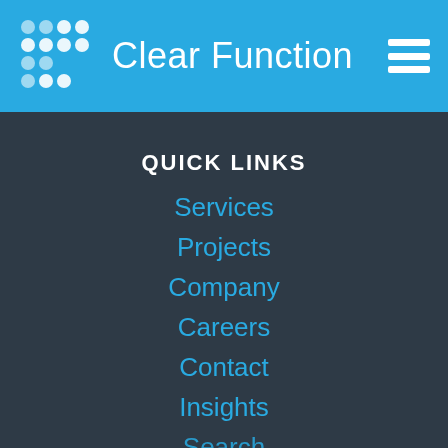Clear Function
QUICK LINKS
Services
Projects
Company
Careers
Contact
Insights
Search